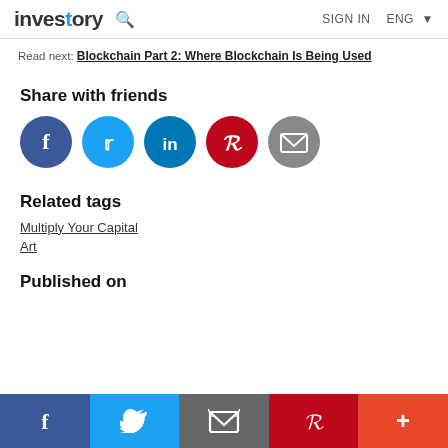investory | SIGN IN | ENG
Read next: Blockchain Part 2: Where Blockchain Is Being Used
Share with friends
[Figure (infographic): Social share buttons: Facebook, Twitter, LinkedIn, Pinterest, Email]
Related tags
Multiply Your Capital
Art
Published on
[Figure (infographic): Bottom sticky share bar with Facebook, Twitter, Email, Pinterest, and More (+) buttons]